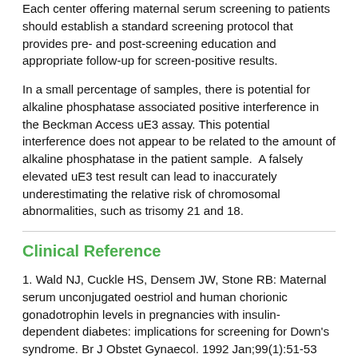Each center offering maternal serum screening to patients should establish a standard screening protocol that provides pre- and post-screening education and appropriate follow-up for screen-positive results.
In a small percentage of samples, there is potential for alkaline phosphatase associated positive interference in the Beckman Access uE3 assay. This potential interference does not appear to be related to the amount of alkaline phosphatase in the patient sample.  A falsely elevated uE3 test result can lead to inaccurately underestimating the relative risk of chromosomal abnormalities, such as trisomy 21 and 18.
Clinical Reference
1. Wald NJ, Cuckle HS, Densem JW, Stone RB: Maternal serum unconjugated oestriol and human chorionic gonadotrophin levels in pregnancies with insulin-dependent diabetes: implications for screening for Down's syndrome. Br J Obstet Gynaecol. 1992 Jan;99(1):51-53
2. American College of Obstetricians and Gynecologists: